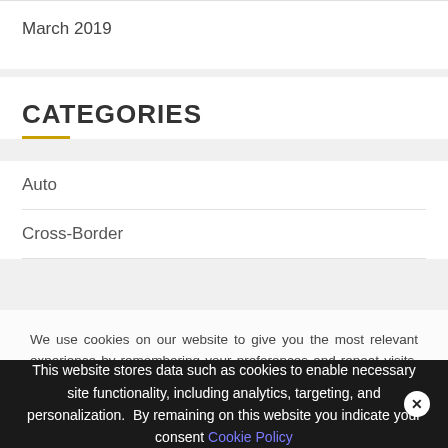March 2019
CATEGORIES
Auto
Cross-Border
We use cookies on our website to give you the most relevant experience by remembering your preferences and repeat visits. By clicking “Accept All”, you consent to the use of ALL the cookies. However, you may visit “Cookie Settings” to provide a controlled consent.
This website stores data such as cookies to enable necessary site functionality, including analytics, targeting, and personalization. By remaining on this website you indicate your consent Cookie Policy